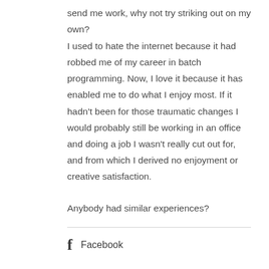send me work, why not try striking out on my own?
I used to hate the internet because it had robbed me of my career in batch programming. Now, I love it because it has enabled me to do what I enjoy most. If it hadn't been for those traumatic changes I would probably still be working in an office and doing a job I wasn't really cut out for, and from which I derived no enjoyment or creative satisfaction.
Anybody had similar experiences?
[Figure (logo): Facebook logo icon and text label]